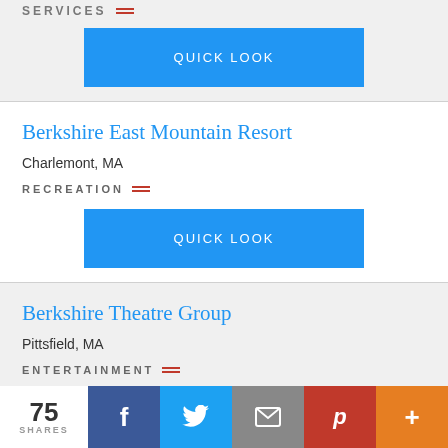SERVICES
[Figure (other): QUICK LOOK blue button]
Berkshire East Mountain Resort
Charlemont, MA
RECREATION
[Figure (other): QUICK LOOK blue button]
Berkshire Theatre Group
Pittsfield, MA
ENTERTAINMENT
[Figure (other): QUICK LOOK blue button (partial)]
75 SHARES | Facebook | Twitter | Email | Pinterest | More